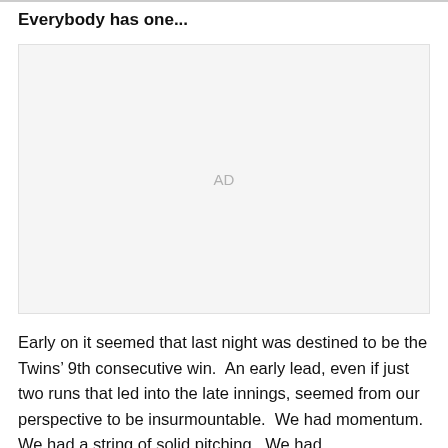Everybody has one...
[Figure (other): Advertisement placeholder block with 'AD' label in center]
Early on it seemed that last night was destined to be the Twins’ 9th consecutive win.  An early lead, even if just two runs that led into the late innings, seemed from our perspective to be insurmountable.  We had momentum.  We had a string of solid pitching.  We had